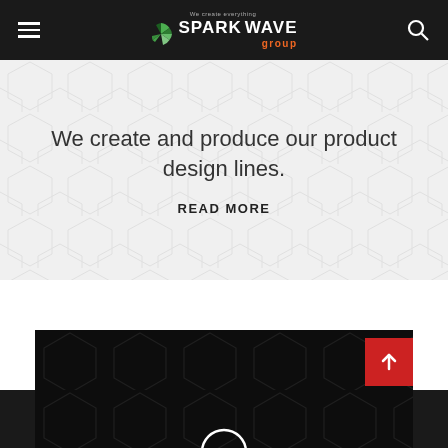[Figure (logo): Spark Wave Group logo with hamburger menu and search icon on dark navigation bar]
We create and produce our product design lines.
READ MORE
[Figure (illustration): Dark card with hexagonal pattern background and white lightbulb icon, with a red scroll-to-top button in the corner]